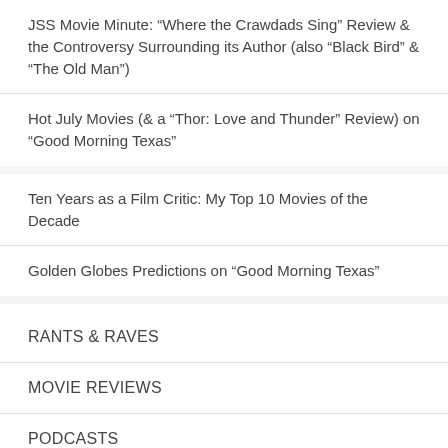JSS Movie Minute: “Where the Crawdads Sing” Review & the Controversy Surrounding its Author (also “Black Bird” & “The Old Man”)
Hot July Movies (& a “Thor: Love and Thunder” Review) on “Good Morning Texas”
Ten Years as a Film Critic: My Top 10 Movies of the Decade
Golden Globes Predictions on “Good Morning Texas”
RANTS & RAVES
MOVIE REVIEWS
PODCASTS